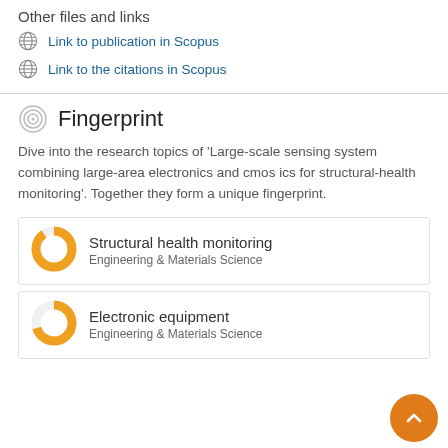Other files and links
Link to publication in Scopus
Link to the citations in Scopus
Fingerprint
Dive into the research topics of 'Large-scale sensing system combining large-area electronics and cmos ics for structural-health monitoring'. Together they form a unique fingerprint.
Structural health monitoring
Engineering & Materials Science
Electronic equipment
Engineering & Materials Science